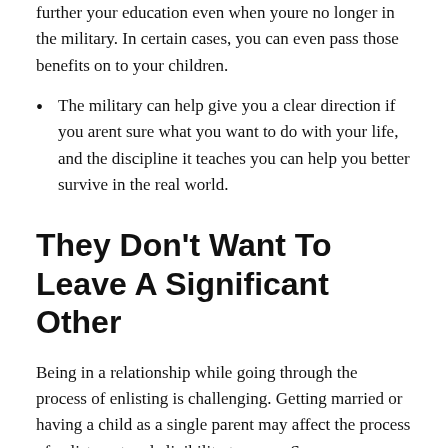further your education even when youre no longer in the military. In certain cases, you can even pass those benefits on to your children.
The military can help give you a clear direction if you arent sure what you want to do with your life, and the discipline it teaches you can help you better survive in the real world.
They Don't Want To Leave A Significant Other
Being in a relationship while going through the process of enlisting is challenging. Getting married or having a child as a single parent may affect the process of enlistment and eligibility to serve. Some